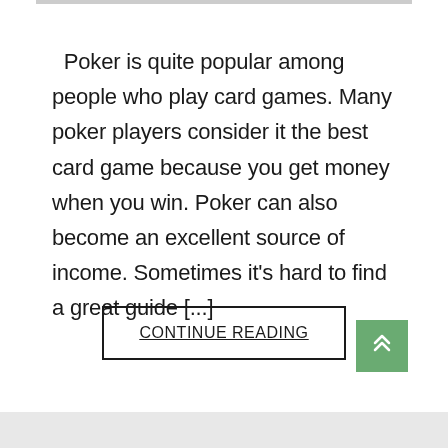Poker is quite popular among people who play card games. Many poker players consider it the best card game because you get money when you win. Poker can also become an excellent source of income. Sometimes it's hard to find a great guide [...]
CONTINUE READING